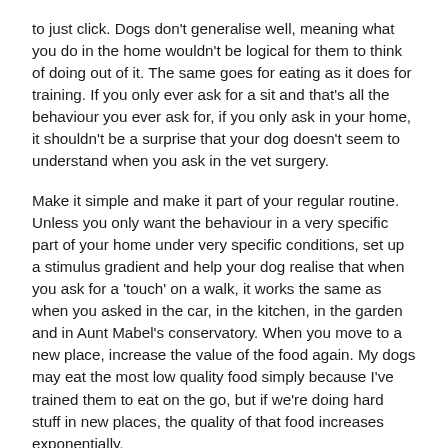to just click. Dogs don't generalise well, meaning what you do in the home wouldn't be logical for them to think of doing out of it. The same goes for eating as it does for training. If you only ever ask for a sit and that's all the behaviour you ever ask for, if you only ask in your home, it shouldn't be a surprise that your dog doesn't seem to understand when you ask in the vet surgery.
Make it simple and make it part of your regular routine. Unless you only want the behaviour in a very specific part of your home under very specific conditions, set up a stimulus gradient and help your dog realise that when you ask for a 'touch' on a walk, it works the same as when you asked in the car, in the kitchen, in the garden and in Aunt Mabel's conservatory. When you move to a new place, increase the value of the food again. My dogs may eat the most low quality food simply because I've trained them to eat on the go, but if we're doing hard stuff in new places, the quality of that food increases exponentially.